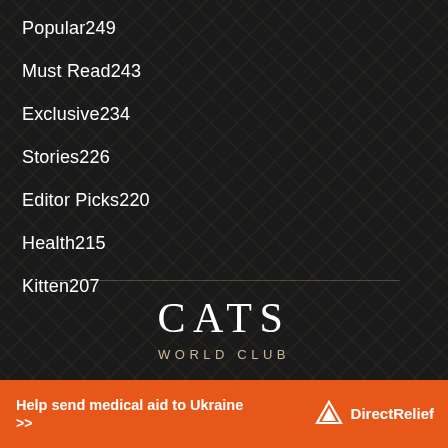Popular249
Must Read243
Exclusive234
Stories226
Editor Picks220
Health215
Kitten207
CATS
WORLD CLUB
Help send medical aid to Ukraine >> DirectRelief